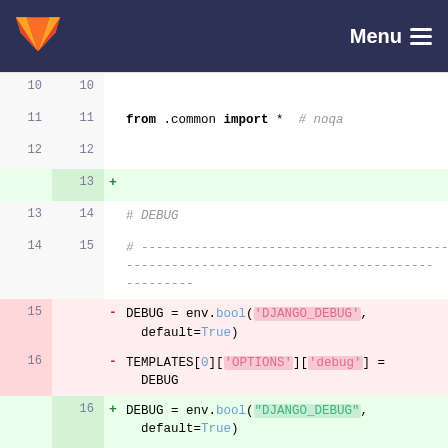GitLab logo | Menu
[Figure (screenshot): GitLab code diff view showing changes to a Python settings file. Lines 10-20 are shown. A new blank line is added (line 13 new). Lines 15-16 are removed (DEBUG and TEMPLATES lines using single-quoted strings). Lines 16-17 are added (same DEBUG and TEMPLATES lines using double-quoted strings). Context includes 'from .common import *  # noqa', '# DEBUG', comment dashes, '# SECRET CONFIGURATION', and more comment dashes.]